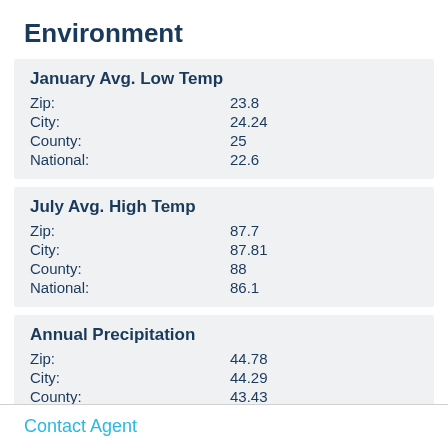Environment
|  |  |
| --- | --- |
| January Avg. Low Temp |  |
| Zip: | 23.8 |
| City: | 24.24 |
| County: | 25 |
| National: | 22.6 |
|  |  |
| --- | --- |
| July Avg. High Temp |  |
| Zip: | 87.7 |
| City: | 87.81 |
| County: | 88 |
| National: | 86.1 |
|  |  |
| --- | --- |
| Annual Precipitation |  |
| Zip: | 44.78 |
| City: | 44.29 |
| County: | 43.43 |
| National: | 38 |
Contact Agent